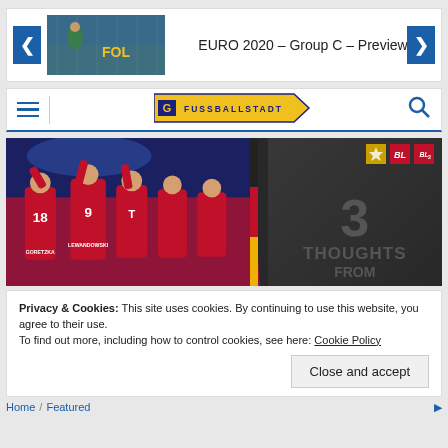[Figure (screenshot): Website screenshot showing a football/soccer article slider with text 'EURO 2020 – Group C – Preview', navigation bar with hamburger menu and Fussballstadt logo, main image of Bayern Munich players celebrating (numbers 18 and 9 visible), with '3 THOUGHTS FROM' text overlay on dark right panel, followed by a cookie consent banner and breadcrumb navigation.]
EURO 2020 – Group C – Preview
Privacy & Cookies: This site uses cookies. By continuing to use this website, you agree to their use.
To find out more, including how to control cookies, see here: Cookie Policy
Close and accept
Home / Featured